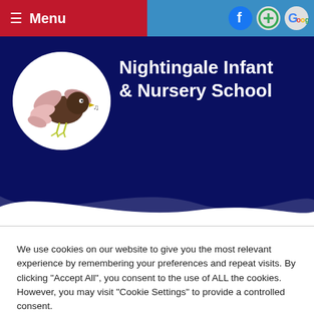≡ Menu
[Figure (logo): Nightingale Infant & Nursery School logo: a cartoon nightingale bird with pink wings, dark body, yellow legs, holding a musical note, inside a white circle on a dark blue banner background]
Nightingale Infant & Nursery School
We use cookies on our website to give you the most relevant experience by remembering your preferences and repeat visits. By clicking "Accept All", you consent to the use of ALL the cookies. However, you may visit "Cookie Settings" to provide a controlled consent.
Cookie Settings | Accept All